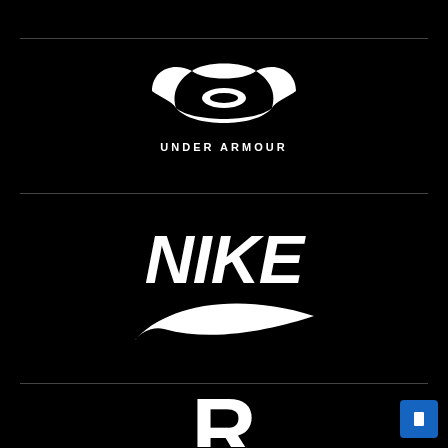[Figure (logo): Under Armour logo — white UA icon with two overlapping curved shapes and the text UNDER ARMOUR below, on black background]
[Figure (logo): Nike logo — white italic NIKE wordmark with the Nike swoosh below, on black background]
[Figure (logo): Reebok logo — white letter R visible at bottom, partially cropped, on black background]